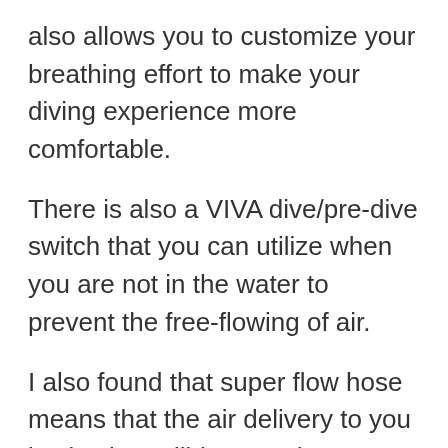also allows you to customize your breathing effort to make your diving experience more comfortable.
There is also a VIVA dive/pre-dive switch that you can utilize when you are not in the water to prevent the free-flowing of air.
I also found that super flow hose means that the air delivery to you is also incredibly smooth.
Inhalation and exhalation is also improved with the means of the high flow exhaust valve.
If you are headed towards chilly waters, then the MK25/2600 is a hot recommends. The main ratif...